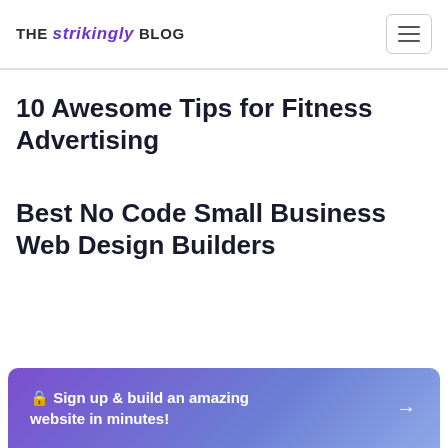THE strikingly BLOG
10 Awesome Tips for Fitness Advertising
Best No Code Small Business Web Design Builders
🔒 Sign up & build an amazing website in minutes!